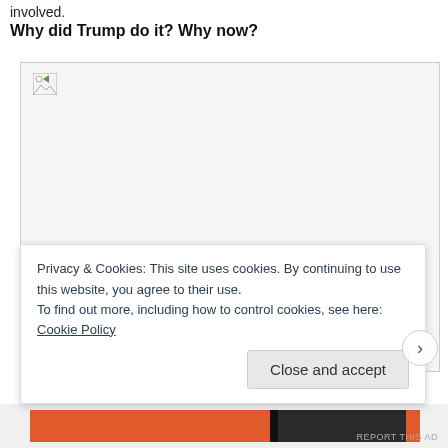involved.
Why did Trump do it? Why now?
[Figure (photo): A broken/unloaded image placeholder occupying a large rectangular space in the article body.]
Privacy & Cookies: This site uses cookies. By continuing to use this website, you agree to their use.
To find out more, including how to control cookies, see here: Cookie Policy
Close and accept